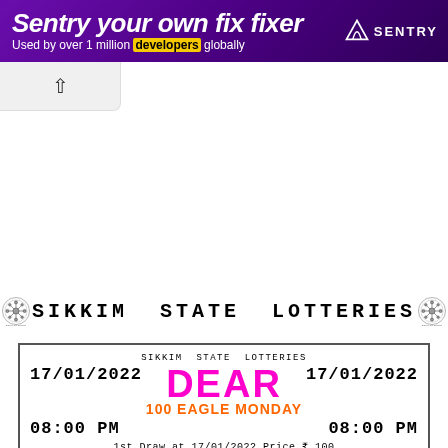[Figure (screenshot): Sentry.io advertisement banner with purple gradient background, showing 'Sentry your own fix fixer' headline and 'Used by over 1 million developers globally' subtext with SENTRY logo]
[Figure (screenshot): Browser navigation back button (chevron up/back arrow) on light gray background]
SIKKIM STATE LOTTERIES
17/01/2022   SIKKIM STATE LOTTERIES DEAR 100 EAGLE MONDAY   17/01/2022
08:00 PM                                                         08:00 PM
1st Draw at 17/01/2022 Price ₹ 100
1st Prize ₹20 Lakhs/- 54401
(Including Super Prize Amt)
Sold by: STOCKIST - PUNJAB TRADING CO, PATIALA